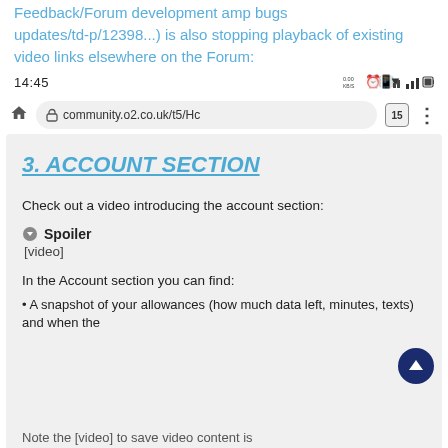Feedback/Forum development amp bugs updates/td-p/12398...) is also stopping playback of existing video links elsewhere on the Forum:
[Figure (screenshot): Android status bar showing time 14:45, data speed 0.00 KB/s, alarm, vibrate, WiFi, signal strength, and battery icons]
[Figure (screenshot): Browser address bar showing home icon, lock icon, URL community.o2.co.uk/t5/Hc, tab count 15, and three-dot menu]
3. ACCOUNT SECTION
Check out a video introducing the account section:
● Spoiler
[video]
In the Account section you can find:
A snapshot of your allowances (how much data left, minutes, texts) and when the
Note the [video] to save video content is